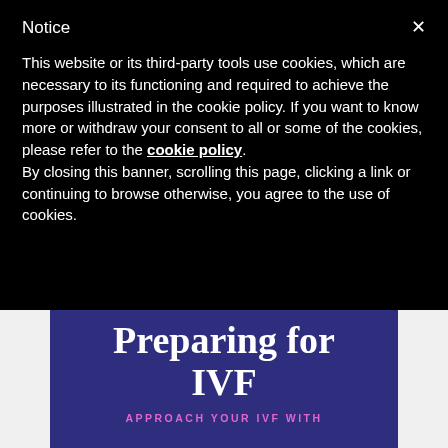Notice
This website or its third-party tools use cookies, which are necessary to its functioning and required to achieve the purposes illustrated in the cookie policy. If you want to know more or withdraw your consent to all or some of the cookies, please refer to the cookie policy.
By closing this banner, scrolling this page, clicking a link or continuing to browse otherwise, you agree to the use of cookies.
[Figure (illustration): Book cover with purple background showing title 'Preparing for IVF' in large white serif font, with subtitle text 'APPROACH YOUR IVF WITH' in pink spaced capital letters at the bottom.]